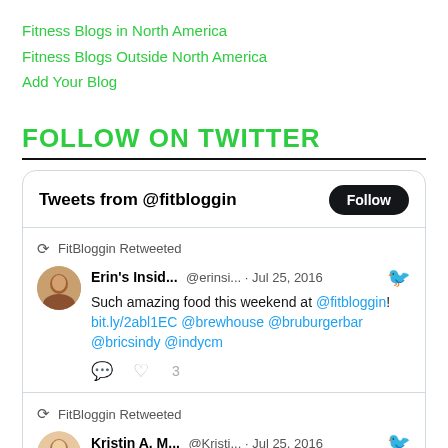Fitness Blogs in North America
Fitness Blogs Outside North America
Add Your Blog
FOLLOW ON TWITTER
[Figure (screenshot): Twitter widget showing 'Tweets from @fitbloggin' with a Follow button, and two retweets from FitBloggin. First tweet by Erin's Insid... @erinsi... Jul 25, 2016: 'Such amazing food this weekend at @fitbloggin! bit.ly/2abl1EC @brewhouse @bruburgerbar @bricsindy @indycm' with 3 likes. Second tweet by Kristin A. M... @Kristi... Jul 25, 2016.]